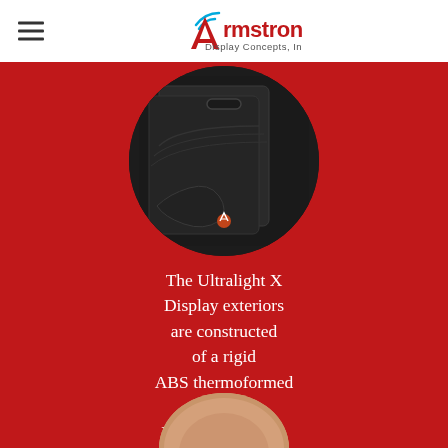Armstrong Display Concepts, Inc.
[Figure (photo): Circular-cropped photo of Ultralight X Display cases in black ABS thermoformed plastic, showing multiple display units stacked, with handles and embossed styling details visible]
The Ultralight X Display exteriors are constructed of a rigid ABS thermoformed plastic. Every display can be branded with your company logo.
[Figure (photo): Bottom-cropped circular image partially visible showing a person's hand or skin tone, cut off at the bottom of the page]